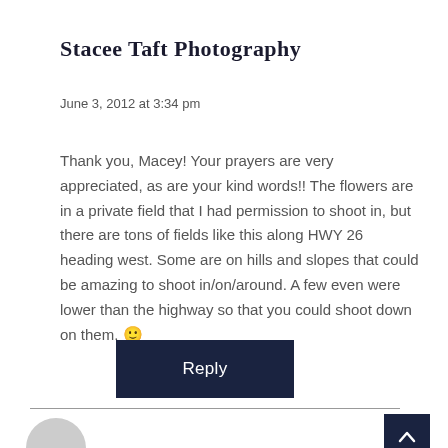Stacee Taft Photography
June 3, 2012 at 3:34 pm
Thank you, Macey! Your prayers are very appreciated, as are your kind words!! The flowers are in a private field that I had permission to shoot in, but there are tons of fields like this along HWY 26 heading west. Some are on hills and slopes that could be amazing to shoot in/on/around. A few even were lower than the highway so that you could shoot down on them. 🙂
Reply
[Figure (other): Dark navy back-to-top arrow button in bottom right corner]
[Figure (other): Gray avatar circle icon partially visible at bottom left]